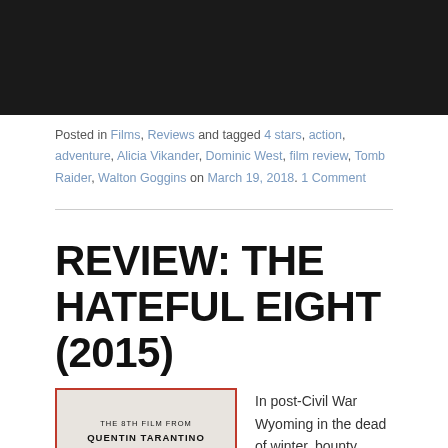[Figure (photo): Dark movie still image at the top of the page]
Posted in Films, Reviews and tagged 4 stars, action, adventure, Alicia Vikander, Dominic West, film review, Tomb Raider, Walton Goggins on March 19, 2018. 1 Comment
REVIEW: THE HATEFUL EIGHT (2015)
[Figure (photo): Movie poster for The Hateful Eight - 'The 8th Film From Quentin Tarantino' with red border and grey background]
In post-Civil War Wyoming in the dead of winter, bounty hunter John Ruth (Kurt Russell) and his prisoner Daisy Domergue (Jennifer Jason Leigh) take shelter in a cabin